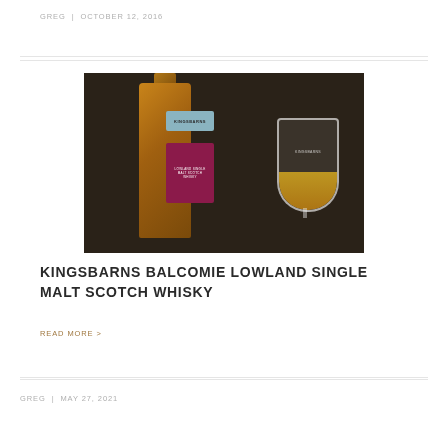GREG  |  OCTOBER 12, 2016
[Figure (photo): Kingsbarns whisky bottle (Lowland Single Malt Scotch) next to a Kingsbarns branded glass with amber whisky, on a dark background]
KINGSBARNS BALCOMIE LOWLAND SINGLE MALT SCOTCH WHISKY
READ MORE >
GREG  |  MAY 27, 2021